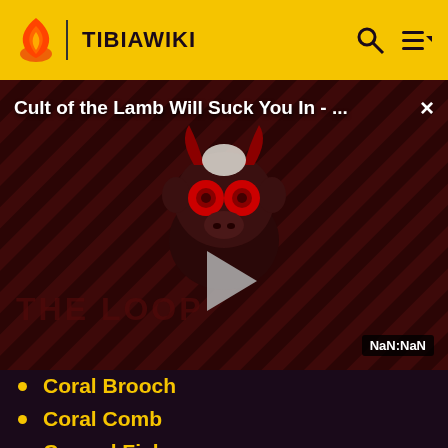TIBIAWIKI
[Figure (screenshot): Video overlay showing 'Cult of the Lamb Will Suck You In - ...' with a play button, diagonal stripe background, a cartoon animal character, 'THE LOOP' watermark, and NaN:NaN timestamp badge]
Coral Brooch
Coral Comb
Corned Fish
Costume Bag (Common)
Costume Bag (Deluxe)
Costume Bag (Retro)